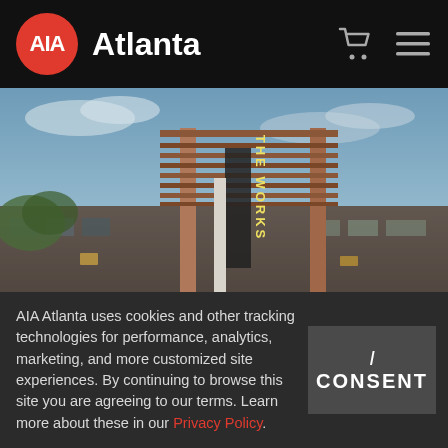AIA Atlanta
[Figure (photo): Exterior photo of an industrial/warehouse building at dusk with a large steel pergola/canopy structure in the foreground with vertical illuminated letters reading 'THE WORKS'. Sky is blue-grey with clouds.]
AIA Atlanta uses cookies and other tracking technologies for performance, analytics, marketing, and more customized site experiences. By continuing to browse this site you are agreeing to our terms. Learn more about these in our Privacy Policy.